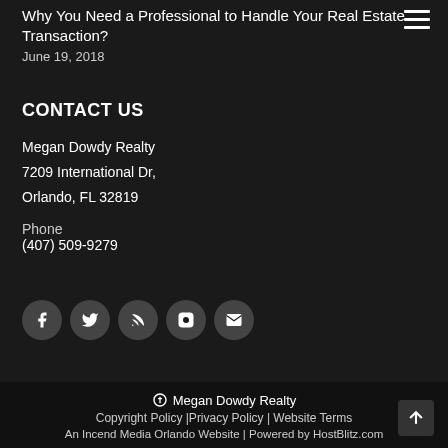Why You Need a Professional to Handle Your Real Estate Transaction?
June 19, 2018
CONTACT US
Megan Dowdy Realty
7209 International Dr,
Orlando, FL 32819
Phone
(407) 509-9279
[Figure (infographic): Social media icons: Facebook, Twitter, RSS, Instagram, Email]
© Megan Dowdy Realty
Copyright Policy | Privacy Policy | Website Terms
An Incend Media Orlando Website | Powered by HostBlitz.com